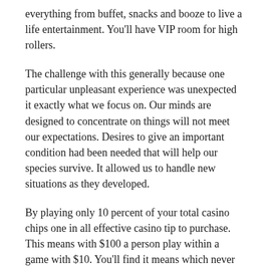everything from buffet, snacks and booze to live a life entertainment. You'll have VIP room for high rollers.
The challenge with this generally because one particular unpleasant experience was unexpected it exactly what we focus on. Our minds are designed to concentrate on things will not meet our expectations. Desires to give an important condition had been needed that will help our species survive. It allowed us to handle new situations as they developed.
By playing only 10 percent of your total casino chips one in all effective casino tip to purchase. This means with $100 a person play within a game with $10. You'll find it means which never bet more than $1 any kind of given guarantee. That means for a slot spin or else a roulette spin, no greater $1, ever sold.
I own a dealing school in Las Vegas, and when my